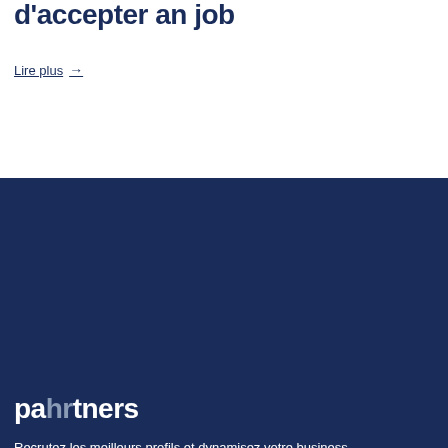d'accepter an job
Lire plus →
[Figure (logo): pahrtners logo in white and grey text on dark navy background]
Recrutez les meilleurs profils et dynamisez votre business.
[Figure (illustration): Social media icons: LinkedIn, Facebook, Twitter as circular buttons]
Recruteurs
Candidats